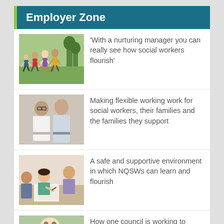Employer Zone
[Figure (photo): Children running outdoors on grass]
'With a nurturing manager you can really see how social workers flourish'
[Figure (photo): Two men standing together in office setting]
Making flexible working work for social workers, their families and the families they support
[Figure (photo): People in a meeting around a table, one person writing]
A safe and supportive environment in which NQSWs can learn and flourish
[Figure (photo): Child holding a paper with Welsh dragon illustration]
How one council is working to capture the voice of the child